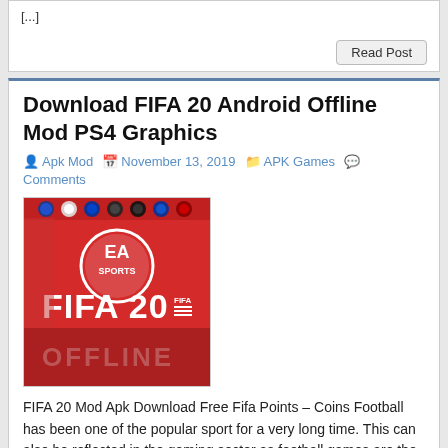[...]
Read Post
Download FIFA 20 Android Offline Mod PS4 Graphics
Apk Mod  November 13, 2019  APK Games  Comments
[Figure (screenshot): FIFA 20 Offline game cover image showing EA Sports logo and FIFA 20 title on a red background with a football player]
FIFA 20 Mod Apk Download Free Fifa Points – Coins Football has been one of the popular sport for a very long time. This can also be reflected in the gaming sector as football games are the leading games in all the console and mobile stores. One of the leading football game producers has been [...]
Read Post